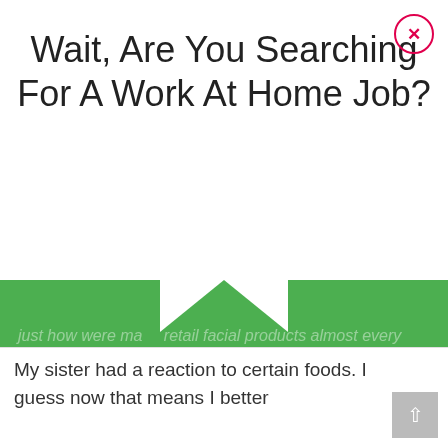Wait, Are You Searching For A Work At Home Job?
[Figure (screenshot): A popup overlay on a webpage. The top white section has the title. A green overlay box appears below with faded italic background text about retail facial products and reactions, overlaid with bold white promotional text: 'I can send you FREE & Legit jobs like data entry, typing, customer service and much more .' An orange button reads 'YES SEND JOBS'. A black input bar is below. A close button (X in red circle) appears top-right.]
I can send you FREE & Legit jobs like data entry, typing, customer service and much more .
My sister had a reaction to certain foods. I guess now that means I better